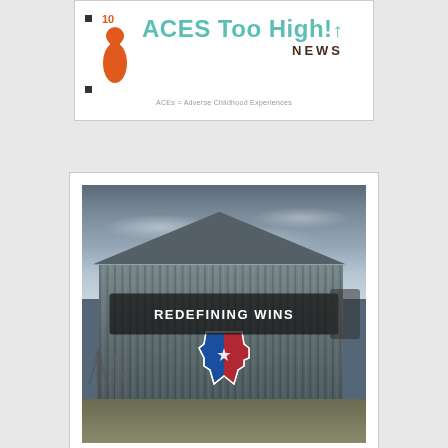[Figure (logo): ACEs Too High! NEWS logo with orange child silhouette figure, number 10 in orange, teal bold title text 'ACES Too High!' with upward arrow, dark brown 'NEWS' subtitle, and tagline 'ACEs = Adverse Childhood Experiences']
[Figure (photo): Photograph of a metal barn building under a dramatic cloudy sky with a Texas state shape mural painted in red/blue/white on the barn front. A dark semi-transparent overlay banner reads 'REDEFINING WINS' in white bold capital letters.]